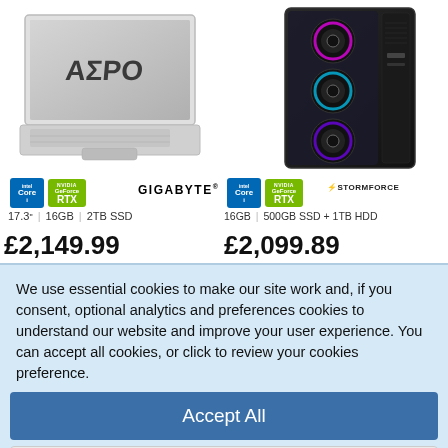[Figure (photo): Gigabyte AERO laptop (silver, 17.3 inch) with AERO branding on screen, photographed at angle showing keyboard]
[Figure (photo): Stormforce gaming desktop PC tower (black) with RGB fans visible through tempered glass side panel]
17.3" | 16GB | 2TB SSD
16GB | 500GB SSD + 1TB HDD
£2,149.99
£2,099.89
We use essential cookies to make our site work and, if you consent, optional analytics and preferences cookies to understand our website and improve your user experience. You can accept all cookies, or click to review your cookies preference.
Accept All
Review